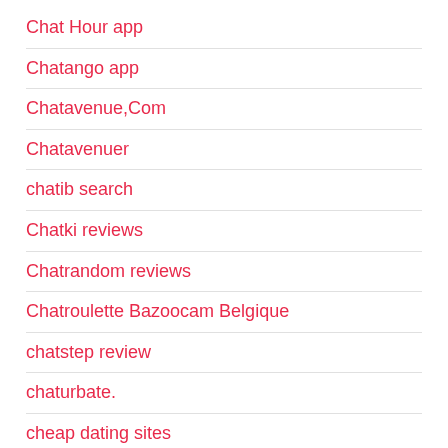Chat Hour app
Chatango app
Chatavenue,Com
Chatavenuer
chatib search
Chatki reviews
Chatrandom reviews
Chatroulette Bazoocam Belgique
chatstep review
chaturbate.
cheap dating sites
cheap essays
Cheap Mail Order Brides
cheap payday loans online